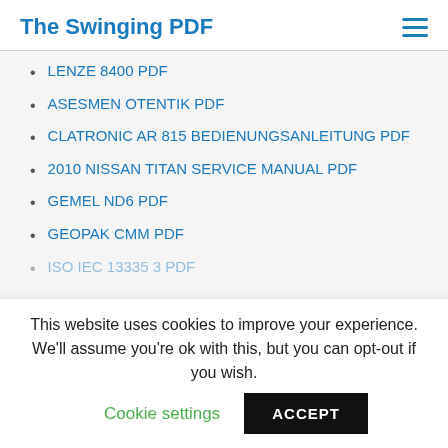The Swinging PDF
LENZE 8400 PDF
ASESMEN OTENTIK PDF
CLATRONIC AR 815 BEDIENUNGSANLEITUNG PDF
2010 NISSAN TITAN SERVICE MANUAL PDF
GEMEL ND6 PDF
GEOPAK CMM PDF
ISO IEC 13335 3 PDF
This website uses cookies to improve your experience. We'll assume you're ok with this, but you can opt-out if you wish. Cookie settings ACCEPT